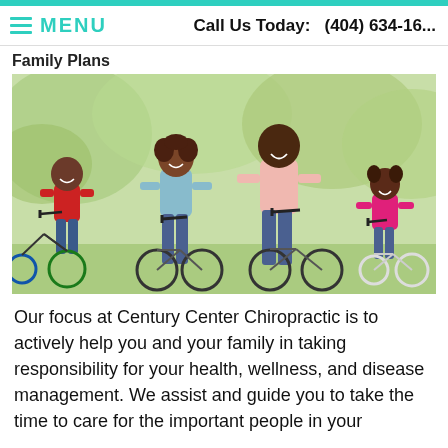MENU | Call Us Today: (404) 634-16...
Family Plans
[Figure (photo): A happy African-American family of four — a boy in a red shirt, a woman in a light blue top, a man in a pink polo shirt, and a girl in a pink shirt — all smiling and riding bicycles outdoors in a sunny park setting.]
Our focus at Century Center Chiropractic is to actively help you and your family in taking responsibility for your health, wellness, and disease management. We assist and guide you to take the time to care for the important people in your